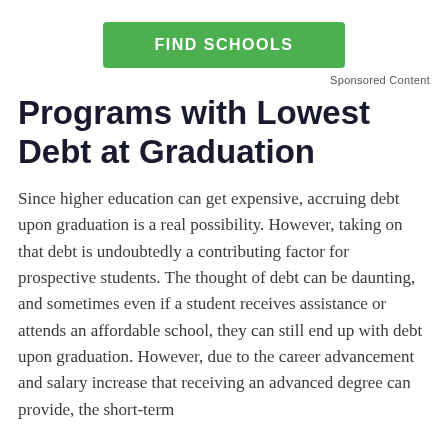[Figure (other): Green 'FIND SCHOOLS' button]
Sponsored Content
Programs with Lowest Debt at Graduation
Since higher education can get expensive, accruing debt upon graduation is a real possibility. However, taking on that debt is undoubtedly a contributing factor for prospective students. The thought of debt can be daunting, and sometimes even if a student receives assistance or attends an affordable school, they can still end up with debt upon graduation. However, due to the career advancement and salary increase that receiving an advanced degree can provide, the short-term sacrifices of taking on debt is often worth it.